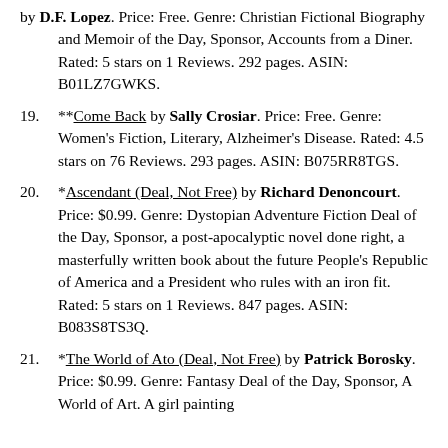by D.F. Lopez. Price: Free. Genre: Christian Fictional Biography and Memoir of the Day, Sponsor, Accounts from a Diner. Rated: 5 stars on 1 Reviews. 292 pages. ASIN: B01LZ7GWKS.
**Come Back by Sally Crosiar. Price: Free. Genre: Women's Fiction, Literary, Alzheimer's Disease. Rated: 4.5 stars on 76 Reviews. 293 pages. ASIN: B075RR8TGS.
*Ascendant (Deal, Not Free) by Richard Denoncourt. Price: $0.99. Genre: Dystopian Adventure Fiction Deal of the Day, Sponsor, a post-apocalyptic novel done right, a masterfully written book about the future People's Republic of America and a President who rules with an iron fit. Rated: 5 stars on 1 Reviews. 847 pages. ASIN: B083S8TS3Q.
*The World of Ato (Deal, Not Free) by Patrick Borosky. Price: $0.99. Genre: Fantasy Deal of the Day, Sponsor, A World of Art. A girl painting